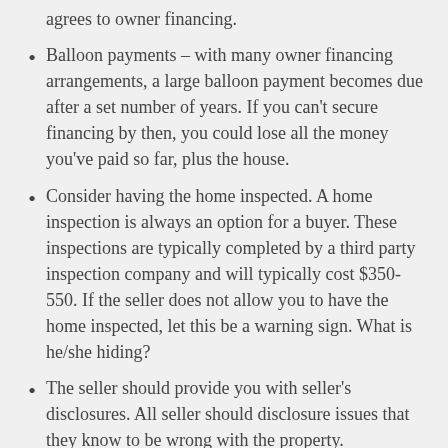agrees to owner financing.
Balloon payments – with many owner financing arrangements, a large balloon payment becomes due after a set number of years. If you can't secure financing by then, you could lose all the money you've paid so far, plus the house.
Consider having the home inspected. A home inspection is always an option for a buyer. These inspections are typically completed by a third party inspection company and will typically cost $350-550. If the seller does not allow you to have the home inspected, let this be a warning sign. What is he/she hiding?
The seller should provide you with seller's disclosures. All seller should disclosure issues that they know to be wrong with the property.
Since a bank is not involved, there might not be an appraiser. In a traditional bank loan process, the bank will send an appraiser to evaluate the property's worth. The appraiser will issue his opinion on value and condition. An appraiser is